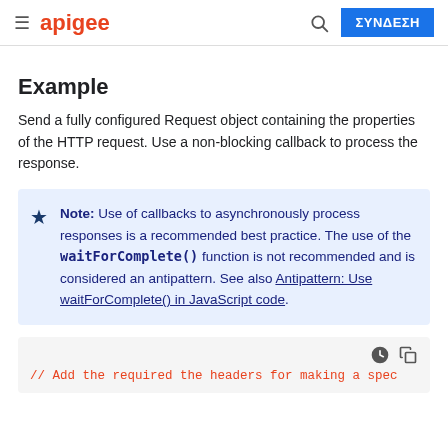apigee   ΣΥΝΔΕΣΗ
Example
Send a fully configured Request object containing the properties of the HTTP request. Use a non-blocking callback to process the response.
Note: Use of callbacks to asynchronously process responses is a recommended best practice. The use of the waitForComplete() function is not recommended and is considered an antipattern. See also Antipattern: Use waitForComplete() in JavaScript code.
// Add the required the headers for making a spec